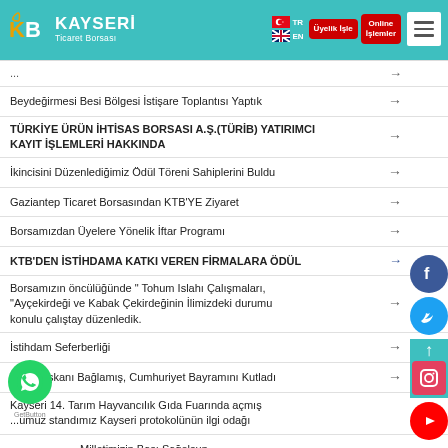KB Kayseri Ticaret Borsası — navigation header with logo, flags, Üyelik İşle, Online İşlemler, hamburger menu
Beydeğirmesi Besi Bölgesi İstişare Toplantısı Yaptık →
TÜRKİYE ÜRÜN İHTİSAS BORSASI A.Ş.(TÜRİB) YATIRIMCI KAYIT İŞLEMLERİ HAKKINDA →
İkincisini Düzenlediğimiz Ödül Töreni Sahiplerini Buldu →
Gaziantep Ticaret Borsasından KTB'YE Ziyaret →
Borsamızdan Üyelere Yönelik İftar Programı →
KTB'DEN İSTİHDAMA KATKI VEREN FİRMALARA ÖDÜL →
Borsamızın öncülüğünde " Tohum Islahı Çalışmaları, "Ayçekirdeği ve Kabak Çekirdeğinin İlimizdeki durumu konulu çalıştay düzenledik. →
İstihdam Seferberliği →
KTB Başkanı Bağlamış, Cumhuriyet Bayramını Kutladı →
Kayseri 14. Tarım Hayvancılık Gıda Fuarında açmış ...umuz standımız Kayseri protokolünün ilgi odağı →
Milletimizin Başı Sağolsun →